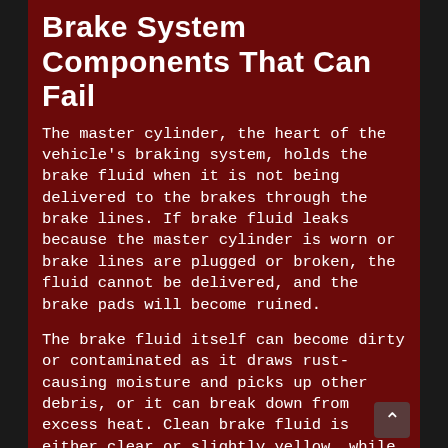Brake System Components That Can Fail
The master cylinder, the heart of the vehicle's braking system, holds the brake fluid when it is not being delivered to the brakes through the brake lines. If brake fluid leaks because the master cylinder is worn or brake lines are plugged or broken, the fluid cannot be delivered, and the brake pads will become ruined.
The brake fluid itself can become dirty or contaminated as it draws rust-causing moisture and picks up other debris, or it can break down from excess heat. Clean brake fluid is either clear or slightly yellow, while dirty brake fluid may be brown or even black. Old and dirty brake fluid can damage ABS brake systems internally.